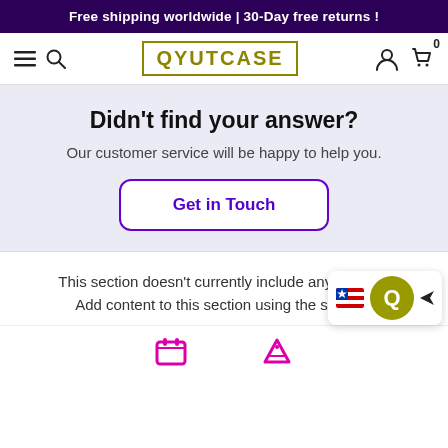Free shipping worldwide | 30-Day free returns !
[Figure (logo): QYUTCASE logo in olive/dark yellow color with border box, navigation bar with hamburger menu, search icon, user icon, cart icon with 0 badge]
Didn't find your answer?
Our customer service will be happy to help you.
Get in Touch
This section doesn't currently include any content. Add content to this section using the sidebar.
[Figure (other): Chat widget with flag icon and circular Q icon in olive/yellow color]